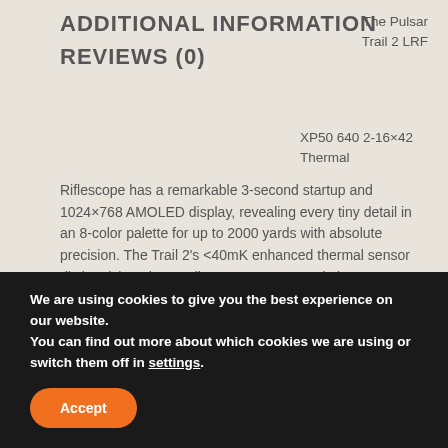ADDITIONAL INFORMATION
REVIEWS (0)
The Pulsar Trail 2 LRF XP50 640 2-16×42 Thermal Riflescope has a remarkable 3-second startup and 1024×768 AMOLED display, revealing every tiny detail in an 8-color palette for up to 2000 yards with absolute precision. The Trail 2's <40mK enhanced thermal sensor distinguishes the smallest temperature variations, operating in rain, fog or extremely cold conditions. With its 8-hour battery life, the Trail 2 is guaranteed to give users a clean, productive shooting experience every time.
The IPX7 waterproof-rated Trail 2 has a built-in camera
We are using cookies to give you the best experience on our website.
You can find out more about which cookies we are using or switch them off in settings.
Accept